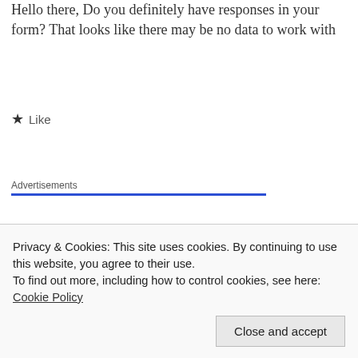Hello there, Do you definitely have responses in your form? That looks like there may be no data to work with
★ Like
Advertisements
Duleep Kumar Samuel
Privacy & Cookies: This site uses cookies. By continuing to use this website, you agree to their use.
To find out more, including how to control cookies, see here: Cookie Policy
Close and accept
Follow